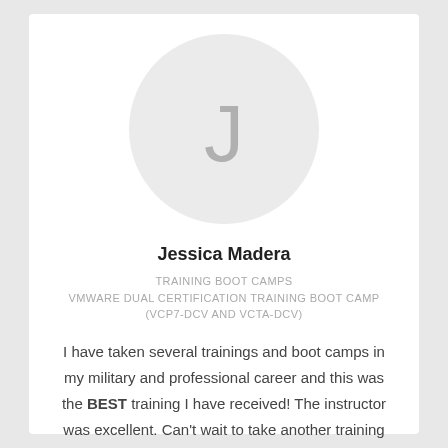[Figure (illustration): Circular avatar placeholder with light gray background and large letter J in gray]
Jessica Madera
TRAINING BOOT CAMPS
VMWARE DUAL CERTIFICATION TRAINING BOOT CAMP
(VCP7-DCV AND VCTA-DCV)
I have taken several trainings and boot camps in my military and professional career and this was the BEST training I have received! The instructor was excellent. Can't wait to take another training with him again.